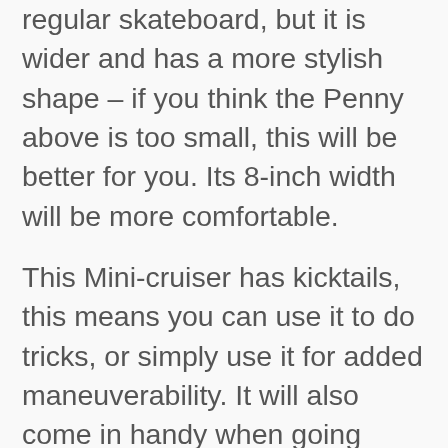regular skateboard, but it is wider and has a more stylish shape – if you think the Penny above is too small, this will be better for you. Its 8-inch width will be more comfortable.
This Mini-cruiser has kicktails, this means you can use it to do tricks, or simply use it for added maneuverability. It will also come in handy when going down curbs or going up them, and picking the deck up.
It comes with high-quality components. It has Bear trucks and